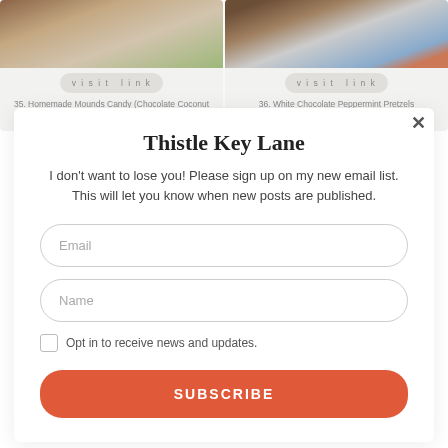[Figure (photo): Homemade Mounds Candy (Chocolate Coconut Candy Balls) on a plate with festive background]
visit link
35. Homemade Mounds Candy (Chocolate Coconut Candy Balls)
[Figure (photo): White Chocolate Peppermint Pretzels on a dark wooden board]
visit link
36. White Chocolate Peppermint Pretzels
Thistle Key Lane
I don't want to lose you! Please sign up on my new email list. This will let you know when new posts are published.
Email
Name
Opt in to receive news and updates.
SUBSCRIBE